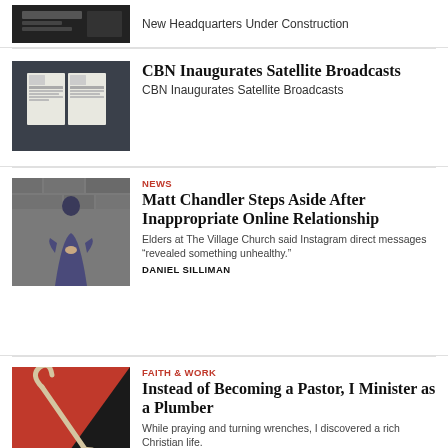[Figure (photo): Thumbnail of newspaper/article image on dark background]
New Headquarters Under Construction
[Figure (photo): Open magazine/newspaper on dark background]
CBN Inaugurates Satellite Broadcasts
CBN Inaugurates Satellite Broadcasts
NEWS
[Figure (photo): Man in blue shirt standing against stone/brick wall]
Matt Chandler Steps Aside After Inappropriate Online Relationship
Elders at The Village Church said Instagram direct messages “revealed something unhealthy.”
DANIEL SILLIMAN
FAITH & WORK
[Figure (illustration): Plumber's hook/cane tool on red and black background]
Instead of Becoming a Pastor, I Minister as a Plumber
While praying and turning wrenches, I discovered a rich Christian life.